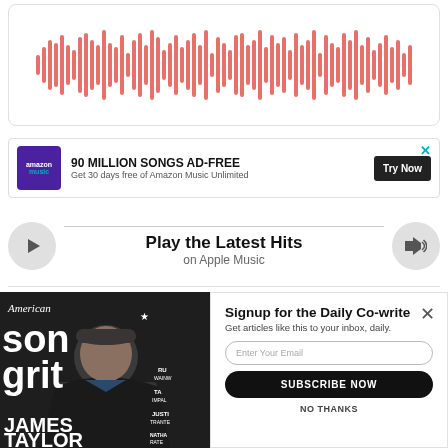[Figure (other): Audio waveform player with pink/salmon colored bars representing sound waves]
[Figure (other): Amazon Music advertisement banner: 90 MILLION SONGS AD-FREE, Get 30 days free of Amazon Music Unlimited, Try Now button]
Play the Latest Hits
on Apple Music
[Figure (photo): American Songwriter magazine cover featuring James Taylor sitting in a chair wearing a dark suit and cap]
Signup for the Daily Co-write
Get articles like this to your inbox, daily.
Enter Your Email
SUBSCRIBE NOW
NO THANKS